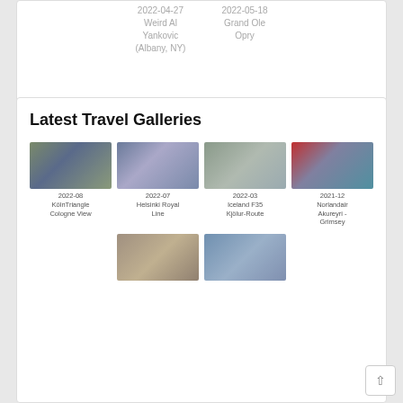| 2022-04-27 | 2022-05-18 |
| Weird Al Yankovic (Albany, NY) | Grand Ole Opry |
Latest Travel Galleries
[Figure (photo): Travel gallery thumbnail - 2022-08 KölnTriangle Cologne View: aerial view of Cologne cathedral and cityscape]
[Figure (photo): Travel gallery thumbnail - 2022-07 Helsinki Royal Line: Ferris wheel and city square in Helsinki]
[Figure (photo): Travel gallery thumbnail - 2022-03 Iceland F35 Kjölur-Route: open Icelandic highland landscape]
[Figure (photo): Travel gallery thumbnail - 2021-12 Norlandair Akureyri - Grimsey: red aircraft wing over water]
[Figure (photo): Travel gallery thumbnail - SUV 4x4 vehicle on dirt road]
[Figure (photo): Travel gallery thumbnail - commercial aircraft nose and engines on tarmac]